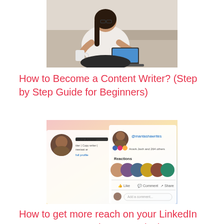[Figure (photo): Woman in white sweater sitting and working on a laptop, holding a mug, photographed from the side in a cozy indoor setting.]
How to Become a Content Writer? (Step by Step Guide for Beginners)
[Figure (screenshot): Screenshot of a LinkedIn profile and post by Mantasha Anwar (@mantashawrites) showing reactions, Like/Comment/Share buttons, and an 'Add a comment' field.]
How to get more reach on your LinkedIn posts? By Mantasha Anwar (10k+ Followers)